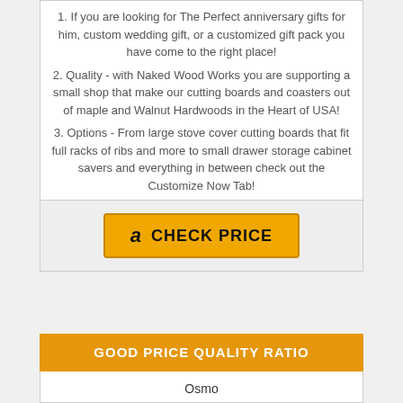1. If you are looking for The Perfect anniversary gifts for him, custom wedding gift, or a customized gift pack you have come to the right place!
2. Quality - with Naked Wood Works you are supporting a small shop that make our cutting boards and coasters out of maple and Walnut Hardwoods in the Heart of USA!
3. Options - From large stove cover cutting boards that fit full racks of ribs and more to small drawer storage cabinet savers and everything in between check out the Customize Now Tab!
[Figure (other): CHECK PRICE button with Amazon logo in orange/gold color]
GOOD PRICE QUALITY RATIO
Osmo